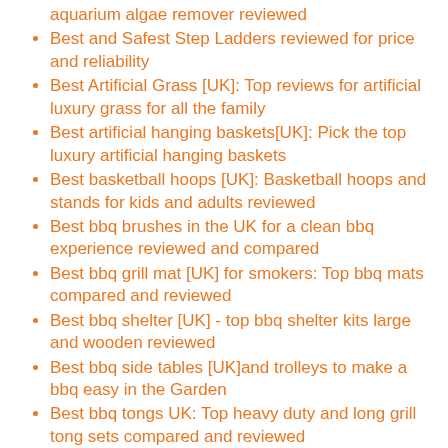aquarium algae remover reviewed
Best and Safest Step Ladders reviewed for price and reliability
Best Artificial Grass [UK]: Top reviews for artificial luxury grass for all the family
Best artificial hanging baskets[UK]: Pick the top luxury artificial hanging baskets
Best basketball hoops [UK]: Basketball hoops and stands for kids and adults reviewed
Best bbq brushes in the UK for a clean bbq experience reviewed and compared
Best bbq grill mat [UK] for smokers: Top bbq mats compared and reviewed
Best bbq shelter [UK] - top bbq shelter kits large and wooden reviewed
Best bbq side tables [UK]and trolleys to make a bbq easy in the Garden
Best bbq tongs UK: Top heavy duty and long grill tong sets compared and reviewed